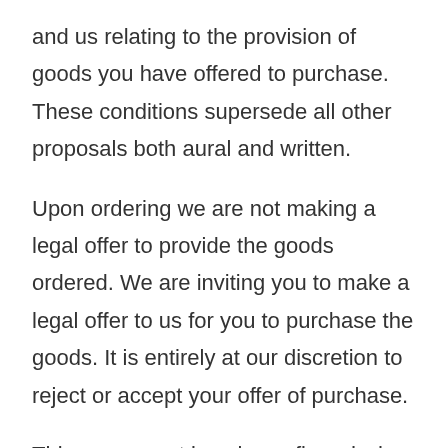and us relating to the provision of goods you have offered to purchase. These conditions supersede all other proposals both aural and written.
Upon ordering we are not making a legal offer to provide the goods ordered. We are inviting you to make a legal offer to us for you to purchase the goods. It is entirely at our discretion to reject or accept your offer of purchase.
This agreement is only confirmed when we have accepted your offer to purchase the goods and have sent you an invoice or dispatch receipt that includes the date of the agreement being accepted which will be the date